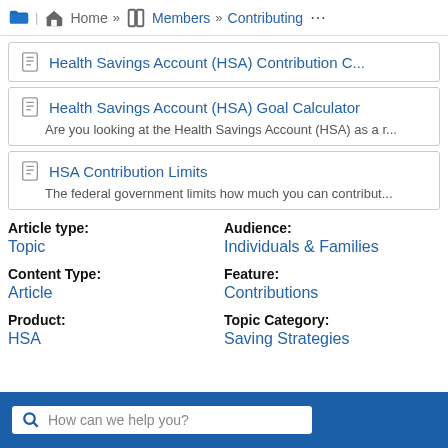Home » Members » Contributing ...
Health Savings Account (HSA) Contribution C...
Health Savings Account (HSA) Goal Calculator — Are you looking at the Health Savings Account (HSA) as a r...
HSA Contribution Limits — The federal government limits how much you can contribut...
Article type: Topic
Audience: Individuals & Families
Content Type: Article
Feature: Contributions
Product: HSA
Topic Category: Saving Strategies
How can we help you?